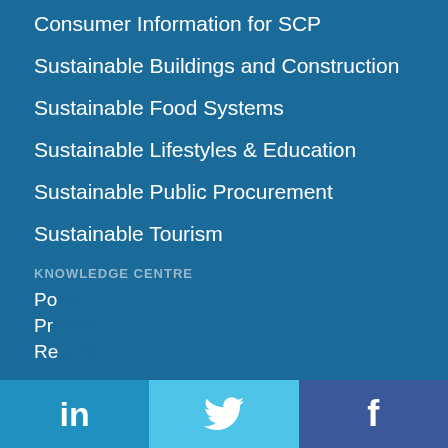Consumer Information for SCP
Sustainable Buildings and Construction
Sustainable Food Systems
Sustainable Lifestyles & Education
Sustainable Public Procurement
Sustainable Tourism
KNOWLEDGE CENTRE
Po...
Pr...
Re...
We use cookies on this site to enhance your user experience
By clicking the Accept button, you agree to us doing so. More info
ACCEPT    NO, THANKS
in  [twitter]  f